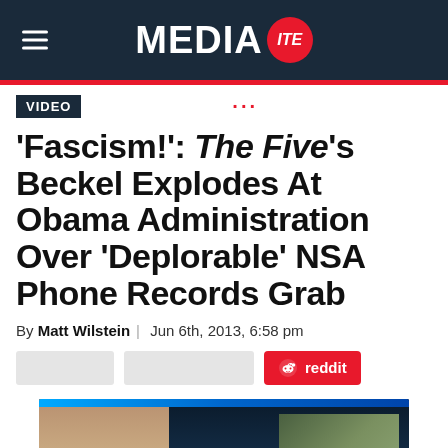MEDIAITE
VIDEO
'Fascism!': The Five's Beckel Explodes At Obama Administration Over 'Deplorable' NSA Phone Records Grab
By Matt Wilstein | Jun 6th, 2013, 6:58 pm
[Figure (screenshot): Share buttons row with reddit button in red]
[Figure (screenshot): Video thumbnail showing two people from a TV broadcast]